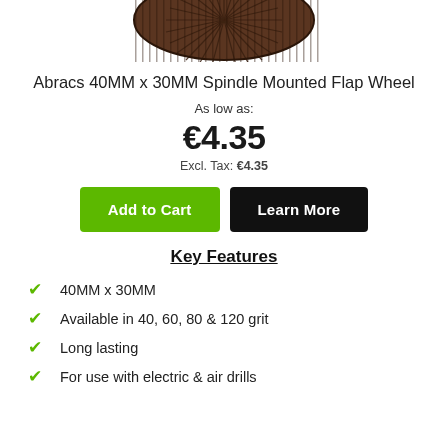[Figure (photo): Top portion of a brown spindle mounted flap wheel abrasive product, showing the fan-like flaps arranged in a circular pattern]
Abracs 40MM x 30MM Spindle Mounted Flap Wheel
As low as:
€4.35
Excl. Tax: €4.35
Add to Cart
Learn More
Key Features
40MM x 30MM
Available in 40, 60, 80 & 120 grit
Long lasting
For use with electric & air drills